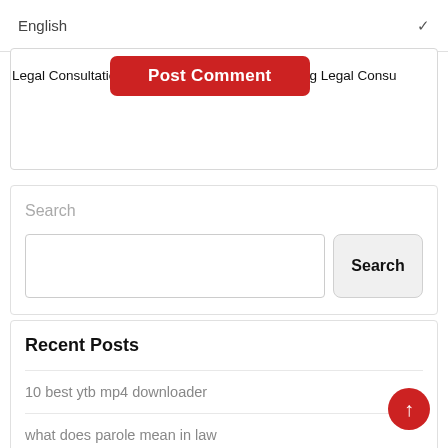English
[Figure (screenshot): Post Comment button (red rounded rectangle) overlaid on page]
Legal Consultation_Find a Lawyer-China's Leading Legal Consu
Search
Search
Recent Posts
10 best ytb mp4 downloader
what does parole mean in law